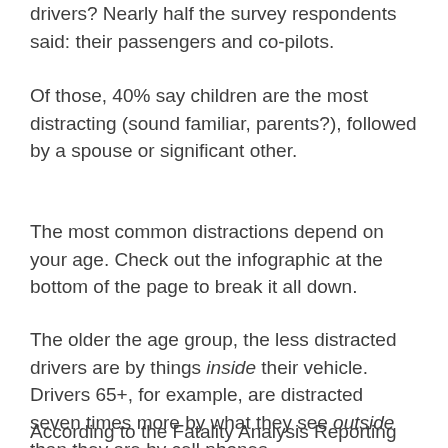drivers? Nearly half the survey respondents said: their passengers and co-pilots.
Of those, 40% say children are the most distracting (sound familiar, parents?), followed by a spouse or significant other.
The most common distractions depend on your age. Check out the infographic at the bottom of the page to break it all down.
The older the age group, the less distracted drivers are by things inside their vehicle. Drivers 65+, for example, are distracted seven times more by what they see outside than they are by cell phones.
According to the Fatality Analysis Reporting System